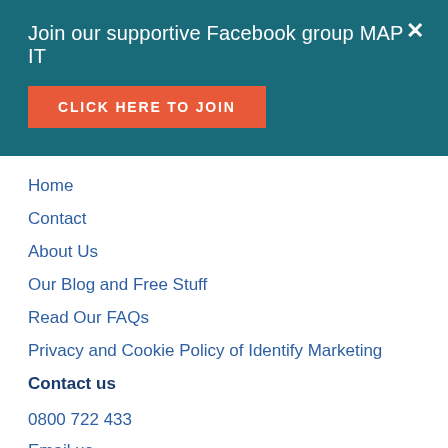Join our supportive Facebook group MAP IT
CLICK HERE TO JOIN
Home
Contact
About Us
Our Blog and Free Stuff
Read Our FAQs
Privacy and Cookie Policy of Identify Marketing
Contact us
0800 722 433
Email us
Identify Marketing
39a Florence Ave, Orewa
Auckland 0931